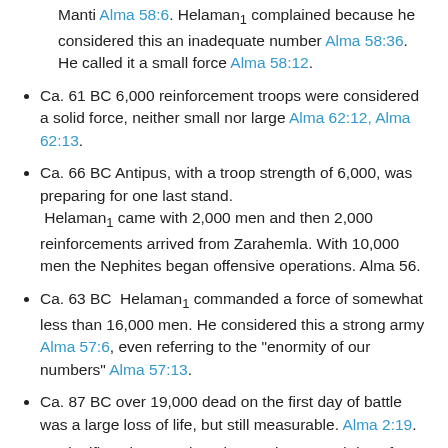Manti Alma 58:6. Helaman1 complained because he considered this an inadequate number Alma 58:36. He called it a small force Alma 58:12.
Ca. 61 BC 6,000 reinforcement troops were considered a solid force, neither small nor large Alma 62:12, Alma 62:13.
Ca. 66 BC Antipus, with a troop strength of 6,000, was preparing for one last stand. Helaman1 came with 2,000 men and then 2,000 reinforcements arrived from Zarahemla. With 10,000 men the Nephites began offensive operations. Alma 56.
Ca. 63 BC Helaman1 commanded a force of somewhat less than 16,000 men. He considered this a strong army Alma 57:6, even referring to the "enormity of our numbers" Alma 57:13.
Ca. 87 BC over 19,000 dead on the first day of battle was a large loss of life, but still measurable. Alma 2:19.
Significantly more than that on the second day of